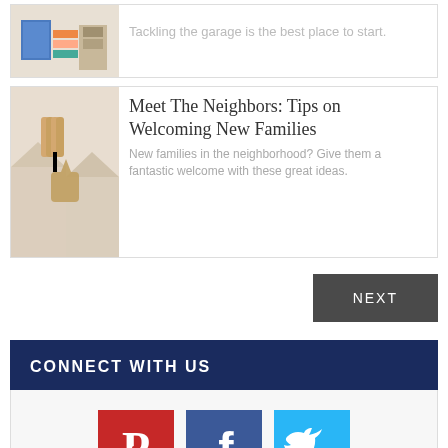[Figure (photo): Partial view of garage items including a blue box, books, colorful papers]
Tackling the garage is the best place to start.
[Figure (photo): Hand holding house-shaped keychain with keys, blurred houses in background]
Meet The Neighbors: Tips on Welcoming New Families
New families in the neighborhood? Give them a fantastic welcome with these great ideas.
NEXT
CONNECT WITH US
[Figure (logo): Pinterest logo icon - red square with white P]
[Figure (logo): Facebook logo icon - blue square with white f]
[Figure (logo): Twitter logo icon - light blue square with white bird]